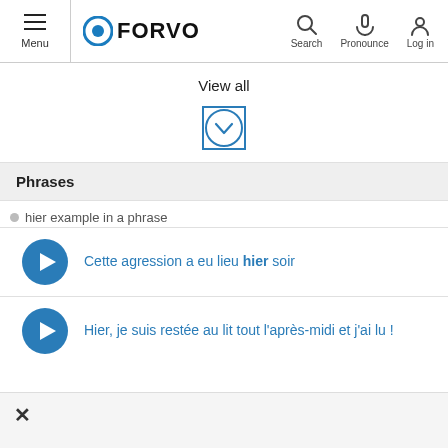Menu | Forvo | Search | Pronounce | Log in
View all
Phrases
hier example in a phrase
Cette agression a eu lieu hier soir
Hier, je suis restée au lit tout l'après-midi et j'ai lu !